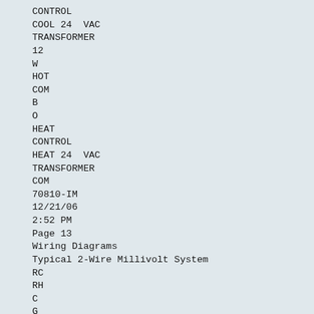CONTROL
COOL 24  VAC
TRANSFORMER
12
W
HOT
COM
B
O
HEAT
CONTROL
HEAT 24  VAC
TRANSFORMER
COM
70810-IM
12/21/06
2:52 PM
Page 13
Wiring Diagrams
Typical 2-Wire Millivolt System
RC
RH
C
G
W
Y
B
O
HEAT
CONTROL
HOT
13
24 VAC